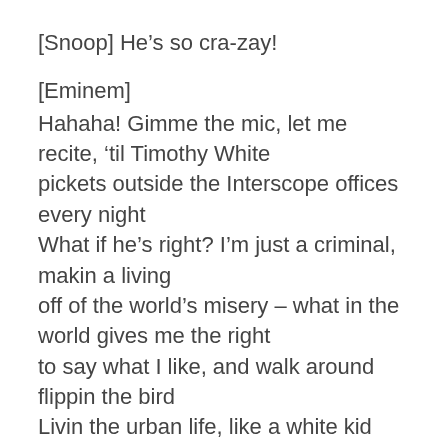[Snoop] He’s so cra-zay!
[Eminem]
Hahaha! Gimme the mic, let me recite, ‘til Timothy White
pickets outside the Interscope offices every night
What if he’s right? I’m just a criminal, makin a living
off of the world’s misery – what in the world gives me the right
to say what I like, and walk around flippin the bird
Livin the urban life, like a white kid from the ‘burbs
Dreamin at night of screamin at mom, schemin